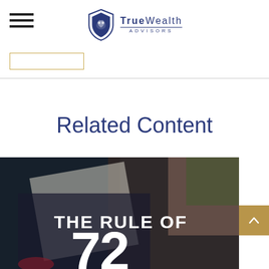TrueWealth Advisors
Related Content
[Figure (photo): Dark background photo of a person writing on paper, with text overlay reading 'THE RULE OF 72']